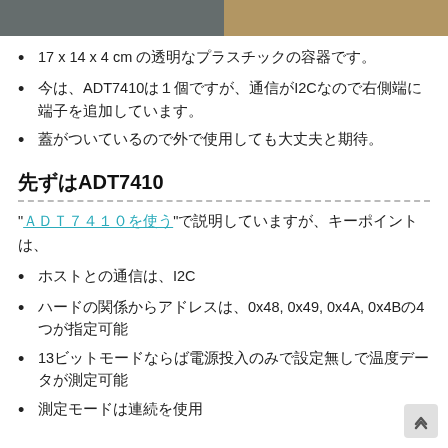[Figure (photo): Top image strip showing photograph of electronic hardware/container]
17 x 14 x 4 cm の透明なプラスチックの容器です。
今は、ADT7410は１個ですが、通信がI2Cなので右側端に端子を追加しています。
蓋がついているので外で使用しても大丈夫と期待。
先ずはADT7410
"ＡＤＴ７４１０を使う"で説明していますが、キーポイントは、
ホストとの通信は、I2C
ハードの関係からアドレスは、0x48, 0x49, 0x4A, 0x4Bの4つが指定可能
13ビットモードならば電源投入のみで設定無しで温度データが測定可能
測定モードは連続を使用